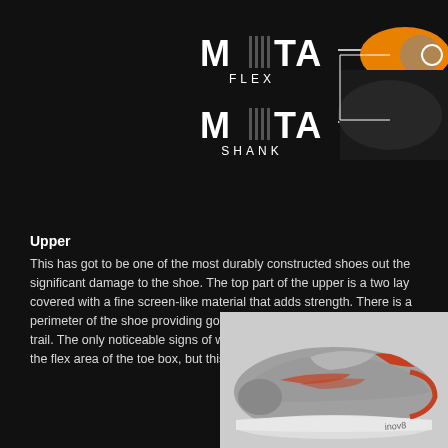[Figure (photo): Top portion showing META FLEX and META SHANK logos with shoe diagram on dark background]
Upper
This has got to be one of the most durably constructed shoes out the... significant damage to the shoe. The top part of the upper is a two lay... covered with a fine screen-like material that adds strength. There is a... perimeter of the shoe providing good protection from all the things yo... trail. The only noticeable signs of wear that I've seen in the upper is t... the flex area of the toe box, but this is long after most other shoes wo...
[Figure (photo): Worn trail running shoe, grey with orange accents, side view on white background]